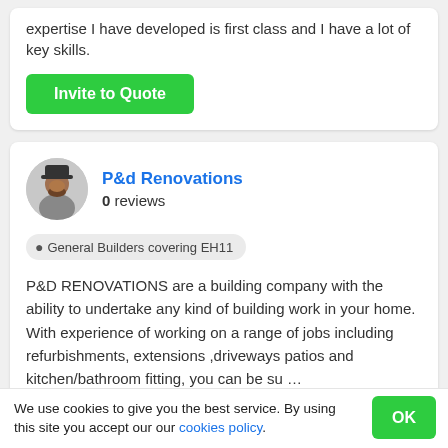expertise I have developed is first class and I have a lot of key skills.
Invite to Quote
P&d Renovations
0 reviews
General Builders covering EH11
P&D RENOVATIONS are a building company with the ability to undertake any kind of building work in your home. With experience of working on a range of jobs including refurbishments, extensions ,driveways patios and kitchen/bathroom fitting, you can be su …
We use cookies to give you the best service. By using this site you accept our our cookies policy.